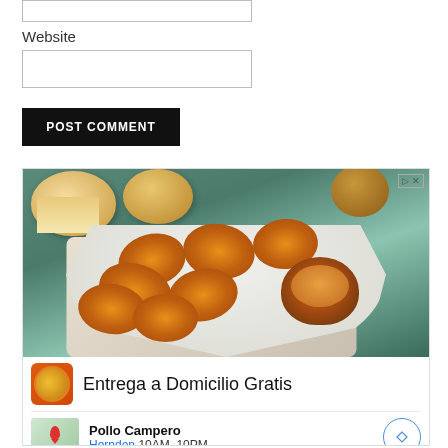Website
[Figure (photo): Advertisement image showing fried chicken pieces on a white octagonal plate with a small bowl of dipping sauce, bread rolls in the background on a teal wooden surface. Below the image: orange logo icon with text 'Entrega a Domicilio Gratis', and a map thumbnail with 'Pollo Campero' business listing showing 'Herndon 10AM-10PM'.]